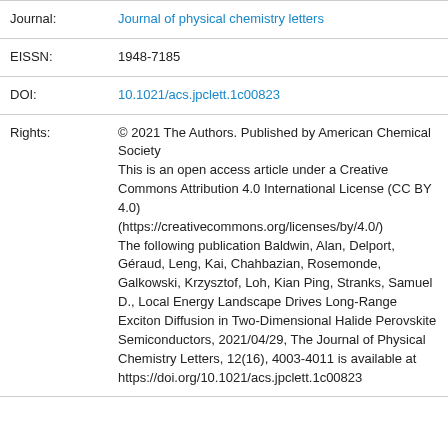| Journal: | Journal of physical chemistry letters |
| EISSN: | 1948-7185 |
| DOI: | 10.1021/acs.jpclett.1c00823 |
| Rights: | © 2021 The Authors. Published by American Chemical Society
This is an open access article under a Creative Commons Attribution 4.0 International License (CC BY 4.0)
(https://creativecommons.org/licenses/by/4.0/)
The following publication Baldwin, Alan, Delport, Géraud, Leng, Kai, Chahbazian, Rosemonde, Galkowski, Krzysztof, Loh, Kian Ping, Stranks, Samuel D., Local Energy Landscape Drives Long-Range Exciton Diffusion in Two-Dimensional Halide Perovskite Semiconductors, 2021/04/29, The Journal of Physical Chemistry Letters, 12(16), 4003-4011 is available at https://doi.org/10.1021/acs.jpclett.1c00823 |